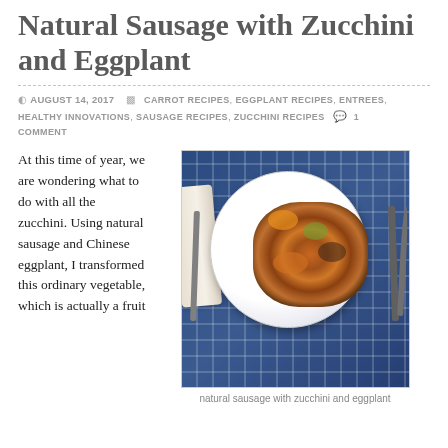Natural Sausage with Zucchini and Eggplant
AUGUST 14, 2017   CARROT RECIPES, EGGPLANT RECIPES, ENTREES, HEALTHY INNOVATIONS, SAUSAGE RECIPES, ZUCCHINI RECIPES   1 COMMENT
At this time of year, we are wondering what to do with all the zucchini. Using natural sausage and Chinese eggplant, I transformed this ordinary vegetable, which is actually a fruit
[Figure (photo): A white plate with blue floral pattern containing a dish of natural sausage with zucchini and eggplant, placed on a blue plaid tablecloth with a napkin, fork, knife, and spoon.]
natural sausage with zucchini and eggplant